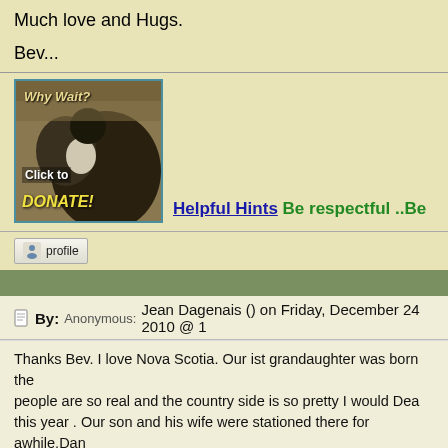Much love and Hugs.

Bev...
[Figure (photo): An eagle/bird photo with overlay text 'Why Wait? Click to DONATE!']
Helpful Hints Be respectful ..Be
profile
By: Anonymous: Jean Dagenais () on Friday, December 24 2010 @
Thanks Bev. I love Nova Scotia. Our ist grandaughter was born the people are so real and the country side is so pretty I would Dea this year . Our son and his wife were stationed there for awhile,Dan went into Navy and loved it.He was in Desert storm war. but came b 1991 Time flys.. Sun is shinning really bright to-day minus 4 C. a lo grand picture and we Thank you so much for your love and compa